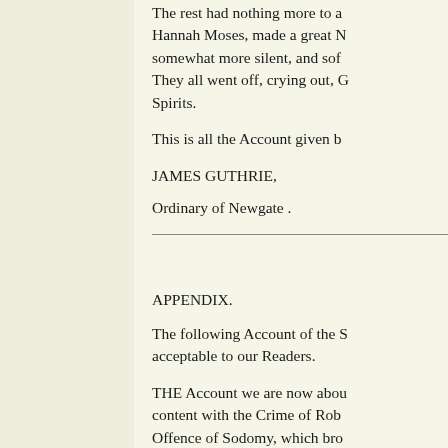The rest had nothing more to a... Hannah Moses, made a great N... somewhat more silent, and sof... They all went off, crying out, G... Spirits.
This is all the Account given b...
JAMES GUTHRIE,
Ordinary of Newgate .
APPENDIX.
The following Account of the S... acceptable to our Readers.
THE Account we are now abou... content with the Crime of Rob... Offence of Sodomy, which bro... not been enough, they made th... draw Gentlemen in, who were ... acknowledge this was no more...